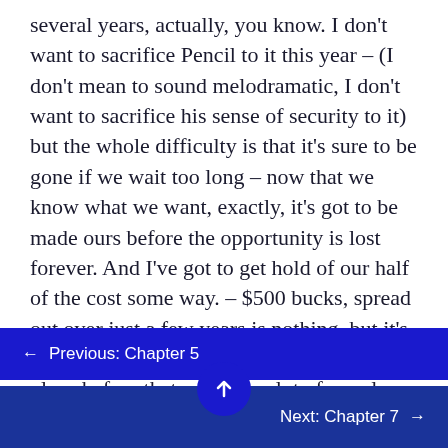several years, actually, you know. I don't want to sacrifice Pencil to it this year – (I don't mean to sound melodramatic, I don't want to sacrifice his sense of security to it) but the whole difficulty is that it's sure to be gone if we wait too long – now that we know what we want, exactly, it's got to be made ours before the opportunity is lost forever. And I've got to get hold of our half of the cost some way. – $500 bucks, spread out over just a few years is nothing, but it's a hell of a lot in a year and we may lose the place before that – there's a lot of people with $500 and urge for something solid to show for it.
← Previous: Chapter 5
Next: Chapter 7 →